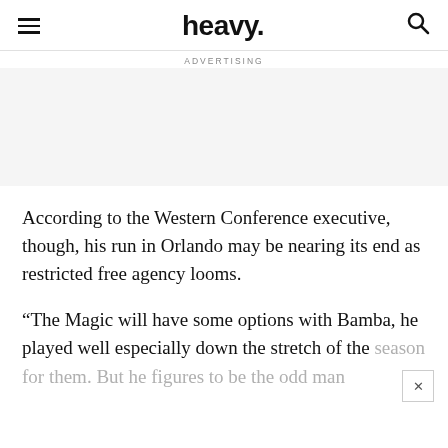heavy.
ADVERTISING
According to the Western Conference executive, though, his run in Orlando may be nearing its end as restricted free agency looms.
“The Magic will have some options with Bamba, he played well especially down the stretch of the season for them. But he figures to be the odd man